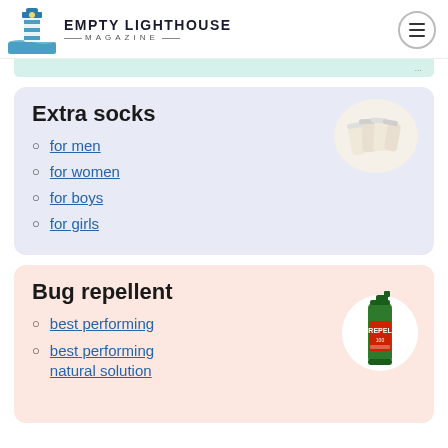EMPTY LIGHTHOUSE MAGAZINE
Extra socks
for men
for women
for boys
for girls
[Figure (photo): White ankle socks fanned out]
Bug repellent
best performing
best performing natural solution
[Figure (photo): Repel brand bug repellent spray bottle]